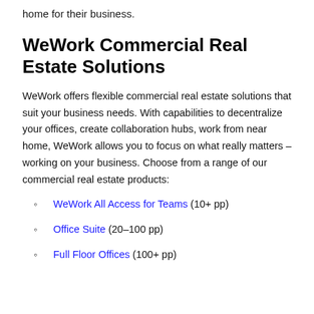home for their business.
WeWork Commercial Real Estate Solutions
WeWork offers flexible commercial real estate solutions that suit your business needs. With capabilities to decentralize your offices, create collaboration hubs, work from near home, WeWork allows you to focus on what really matters – working on your business. Choose from a range of our commercial real estate products:
WeWork All Access for Teams (10+ pp)
Office Suite (20–100 pp)
Full Floor Offices (100+ pp)